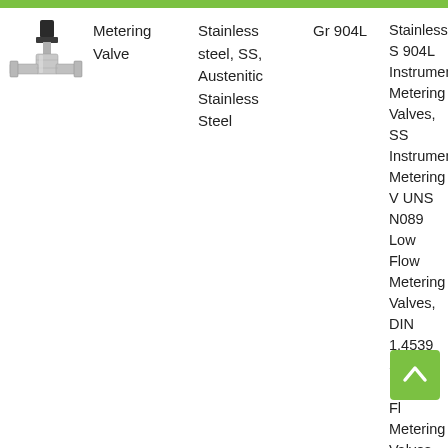[Figure (illustration): Photo of a stainless steel metering valve with T-shaped body and black knob on top]
| [Image] | Name | Material | Grade | Description |
| --- | --- | --- | --- | --- |
| [valve image] | Metering Valve | Stainless steel, SS, Austenitic Stainless Steel | Gr 904L | Stainless S 904L Instrument Metering Valves, SS Instrument Metering V UNS N089 Low Flow Metering Valves, DIN 1.4539 SS Medium Fl Metering Valves, SS High Flow Metering Valves, 904 Instrument Metering B Valves, 90 |